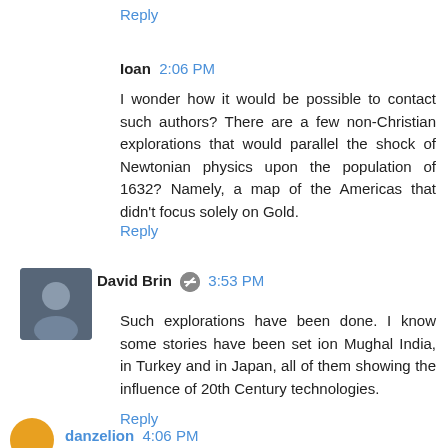Reply
Ioan  2:06 PM
I wonder how it would be possible to contact such authors? There are a few non-Christian explorations that would parallel the shock of Newtonian physics upon the population of 1632? Namely, a map of the Americas that didn't focus solely on Gold.
Reply
David Brin  3:53 PM
Such explorations have been done. I know some stories have been set ion Mughal India, in Turkey and in Japan, all of them showing the influence of 20th Century technologies.
Reply
danzelion  4:06 PM